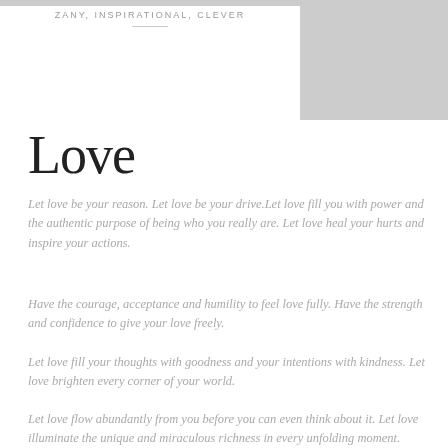ZANY, INSPIRATIONAL, CLEVER
Love
Let love be your reason. Let love be your drive.Let love fill you with power and the authentic purpose of being who you really are. Let love heal your hurts and inspire your actions.
Have the courage, acceptance and humility to feel love fully. Have the strength and confidence to give your love freely.
Let love fill your thoughts with goodness and your intentions with kindness. Let love brighten every corner of your world.
Let love flow abundantly from you before you can even think about it. Let love illuminate the unique and miraculous richness in every unfolding moment.